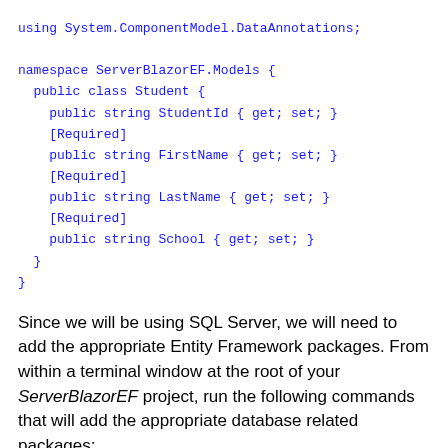using System.ComponentModel.DataAnnotations;

namespace ServerBlazorEF.Models {
  public class Student {
    public string StudentId { get; set; }
    [Required]
    public string FirstName { get; set; }
    [Required]
    public string LastName { get; set; }
    [Required]
    public string School { get; set; }
  }
}
Since we will be using SQL Server, we will need to add the appropriate Entity Framework packages. From within a terminal window at the root of your ServerBlazorEF project, run the following commands that will add the appropriate database related packages:
dotnet add package Microsoft.EntityFrameworkCore.Design
dotnet add package Microsoft.EntityFrameworkCore.SqlServe
dotnet add package Microsoft.EntityFrameworkCore.SqlServe